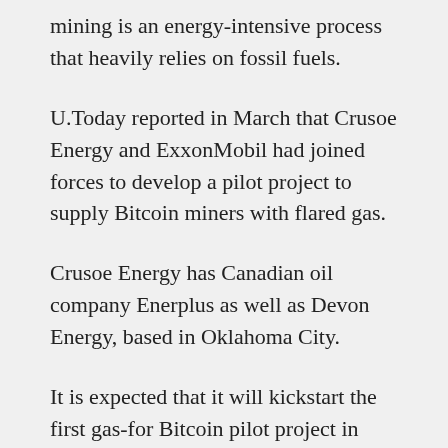mining is an energy-intensive process that heavily relies on fossil fuels.
U.Today reported in March that Crusoe Energy and ExxonMobil had joined forces to develop a pilot project to supply Bitcoin miners with flared gas.
Crusoe Energy has Canadian oil company Enerplus as well as Devon Energy, based in Oklahoma City.
It is expected that it will kickstart the first gas-for Bitcoin pilot project in Oman next spring.
Although Bitcoin's price is down 31.29% year-to-date, Lochmiller claims that this big correction will not impact the company's